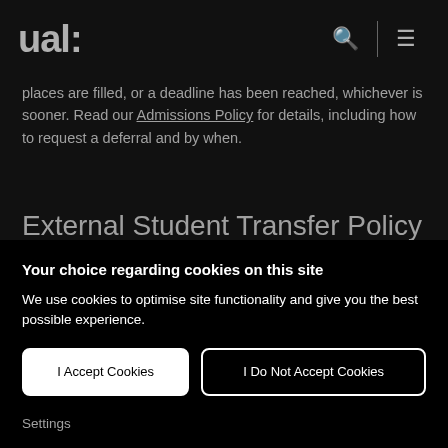ual:
places are filled, or a deadline has been reached, whichever is sooner. Read our Admissions Policy for details, including how to request a deferral and by when.
External Student Transfer Policy
Your choice regarding cookies on this site
We use cookies to optimise site functionality and give you the best possible experience.
I Accept Cookies
I Do Not Accept Cookies
Settings